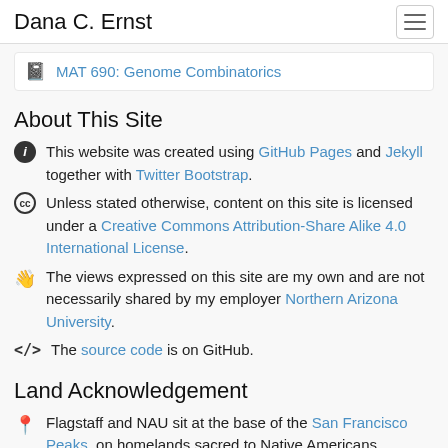Dana C. Ernst
MAT 690: Genome Combinatorics
About This Site
This website was created using GitHub Pages and Jekyll together with Twitter Bootstrap.
Unless stated otherwise, content on this site is licensed under a Creative Commons Attribution-Share Alike 4.0 International License.
The views expressed on this site are my own and are not necessarily shared by my employer Northern Arizona University.
The source code is on GitHub.
Land Acknowledgement
Flagstaff and NAU sit at the base of the San Francisco Peaks, on homelands sacred to Native Americans throughout the region. The Peaks, which includes Humphreys Peak (12,633 feet), the highest point in Arizona, have religious significance to several Native American tribes. In particular, the Peaks form the